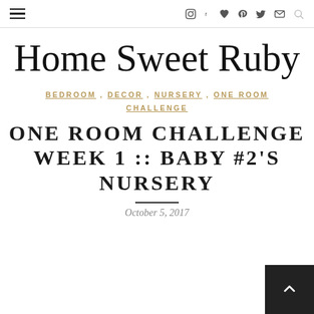Navigation bar with hamburger menu and social icons (Instagram, Facebook, heart, Pinterest, Twitter, email, search)
Home Sweet Ruby
BEDROOM , DECOR , NURSERY , ONE ROOM CHALLENGE
ONE ROOM CHALLENGE WEEK 1 :: BABY #2'S NURSERY
October 5, 2017